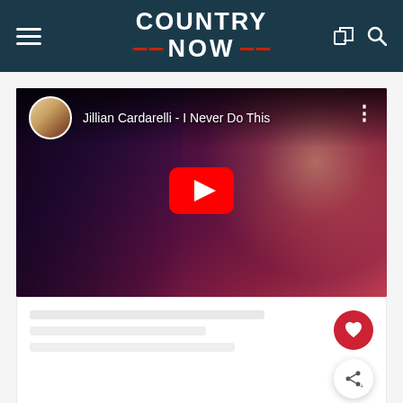COUNTRY NOW
[Figure (screenshot): YouTube video embed showing Jillian Cardarelli - I Never Do This, with a play button overlay and artist thumbnail in top-left corner]
[Figure (screenshot): Partially visible advertisement or content block below the video, with a heart (like) floating button and a share floating button on the right side]